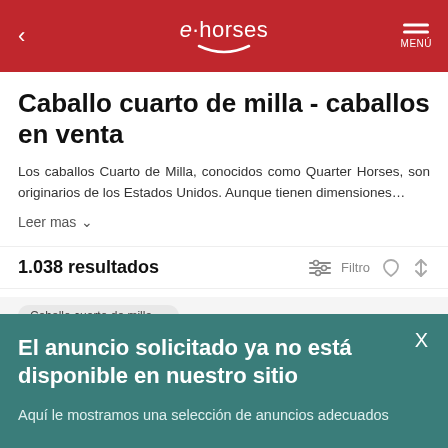e·horses MENÚ
Caballo cuarto de milla - caballos en venta
Los caballos Cuarto de Milla, conocidos como Quarter Horses, son originarios de los Estados Unidos. Aunque tienen dimensiones…
Leer mas ∨
1.038 resultados   Filtro
Caballo cuarto de milla …
El anuncio solicitado ya no está disponible en nuestro sitio
Aquí le mostramos una selección de anuncios adecuados